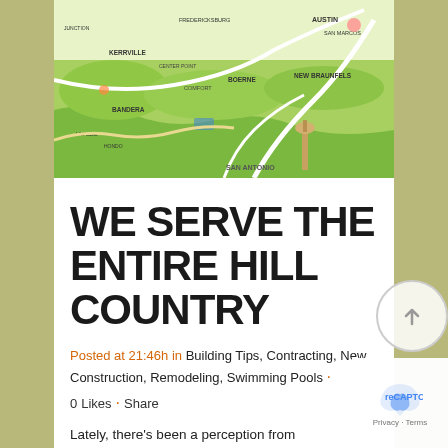[Figure (map): Illustrated vintage-style map of the Texas Hill Country region showing cities including San Antonio, Austin, Kerrville, Boerne, Bandera, New Braunfels, San Marcos and surrounding areas with roads and decorative illustrations.]
WE SERVE THE ENTIRE HILL COUNTRY
Posted at 21:46h in Building Tips, Contracting, New Construction, Remodeling, Swimming Pools · 0 Likes · Share
Lately, there's been a perception from